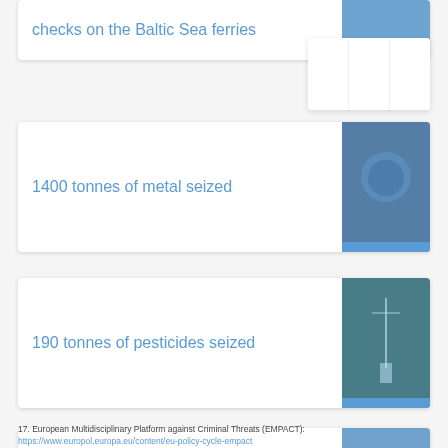checks on the Baltic Sea ferries
[Figure (photo): Blue-tinted photo of Baltic Sea ferry scene]
1400 tonnes of metal seized
[Figure (photo): Blue-tinted photo of metal seizure]
190 tonnes of pesticides seized
[Figure (photo): Blue-tinted photo related to pesticides seizure, teal/green overlay]
24 facilitators of illegal immigration arrested
[Figure (photo): Blue-tinted photo of illegal immigration arrest scene]
17. European Multidisciplinary Platform against Criminal Threats (EMPACT): https://www.europol.europa.eu/content/eu-policy-cycle-empact